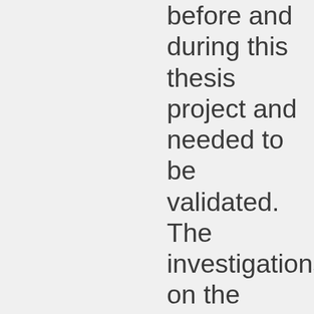before and during this thesis project and needed to be validated. The investigations on the impact of BDC changes on the time-series of stratospheric fluorine showed that, for the past twenty years, the BDC has been changing asymmetrically, with the Southern Hemisphere branch getting stronger relative to that of the Northern Hemisphere